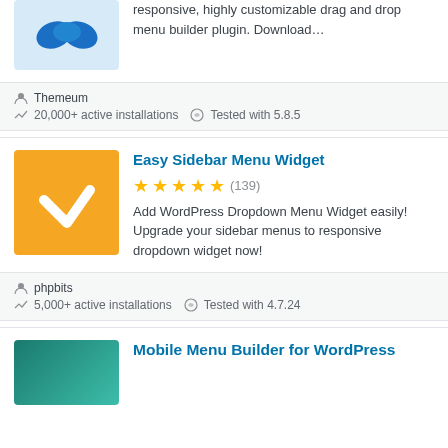[Figure (illustration): Blue plugin logo on light blue background (partially visible at top)]
responsive, highly customizable drag and drop menu builder plugin. Download…
Themeum
20,000+ active installations   Tested with 5.8.5
[Figure (illustration): Orange background with white checkmark icon]
Easy Sidebar Menu Widget
★★★★★ (139)
Add WordPress Dropdown Menu Widget easily! Upgrade your sidebar menus to responsive dropdown widget now!
phpbits
5,000+ active installations   Tested with 4.7.24
[Figure (illustration): Teal gradient background plugin logo (partially visible at bottom)]
Mobile Menu Builder for WordPress